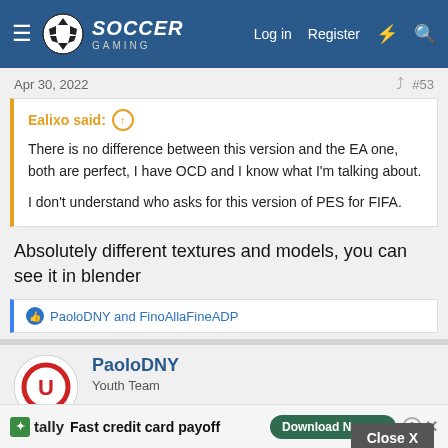Soccer Gaming — Log in  Register
Apr 30, 2022  #53
Ealixo said:
There is no difference between this version and the EA one, both are perfect, I have OCD and I know what I'm talking about.

I don't understand who asks for this version of PES for FIFA.
Absolutely different textures and models, you can see it in blender
PaoloDNY and FinoAllaFineADP
PaoloDNY
Youth Team
Apr 30, 20  #54
tally  Fast credit card payoff  Download Now